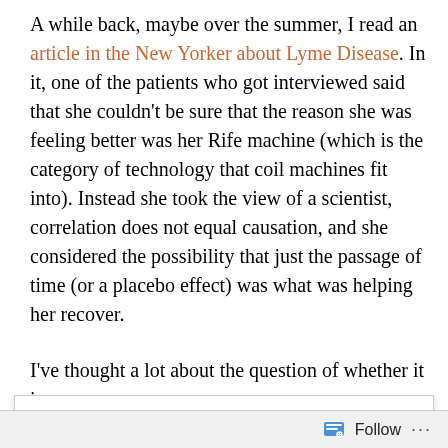A while back, maybe over the summer, I read an article in the New Yorker about Lyme Disease. In it, one of the patients who got interviewed said that she couldn't be sure that the reason she was feeling better was her Rife machine (which is the category of technology that coil machines fit into). Instead she took the view of a scientist, correlation does not equal causation, and she considered the possibility that just the passage of time (or a placebo effect) was what was helping her recover.
I've thought a lot about the question of whether it is
Privacy & Cookies: This site uses cookies. By continuing to use this website, you agree to their use. To find out more, including how to control cookies, see here: Cookie Policy
Close and accept
Follow ···